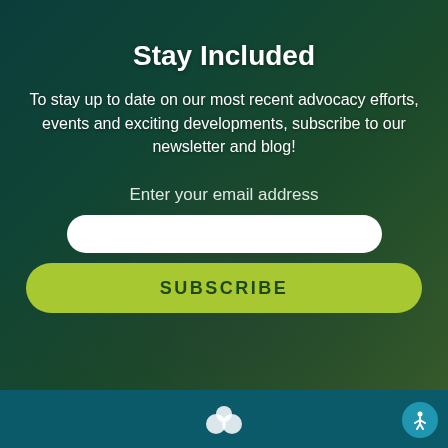Stay Included
To stay up to date on our most recent advocacy efforts, events and exciting developments, subscribe to our newsletter and blog!
Enter your email address
[Figure (infographic): White rounded email input field and green SUBSCRIBE button on dark teal/green overlaid background photo of many hands stacked together in a team gesture]
[Figure (logo): Partial logo visible at the bottom center of a dark teal footer bar, with accessibility icon (person figure) in a blue circle at bottom right]